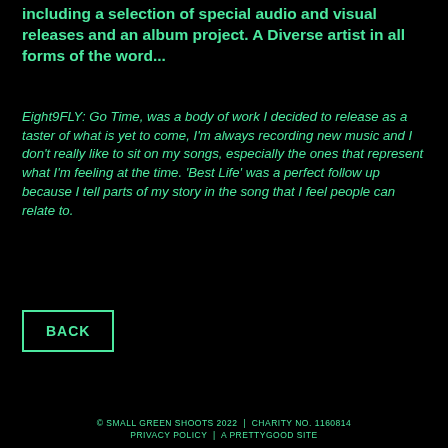including a selection of special audio and visual releases and an album project. A Diverse artist in all forms of the word...
Eight9FLY: Go Time, was a body of work I decided to release as a taster of what is yet to come, I'm always recording new music and I don't really like to sit on my songs, especially the ones that represent what I'm feeling at the time. 'Best Life' was a perfect follow up because I tell parts of my story in the song that I feel people can relate to.
BACK
© SMALL GREEN SHOOTS 2022  |  CHARITY NO. 1160814
PRIVACY POLICY  |  A PRETTYGOOD SITE